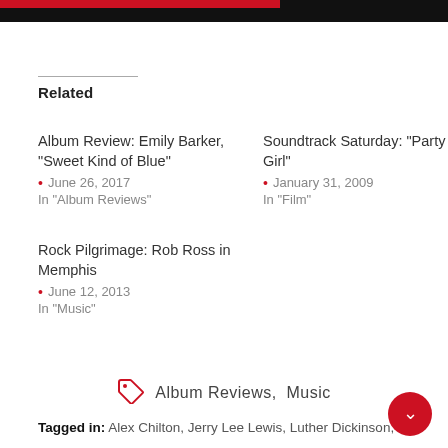Related
Album Review: Emily Barker, "Sweet Kind of Blue"
June 26, 2017
In "Album Reviews"
Soundtrack Saturday: "Party Girl"
January 31, 2009
In "Film"
Rock Pilgrimage: Rob Ross in Memphis
June 12, 2013
In "Music"
Album Reviews, Music
Tagged in: Alex Chilton, Jerry Lee Lewis, Luther Dickinson,